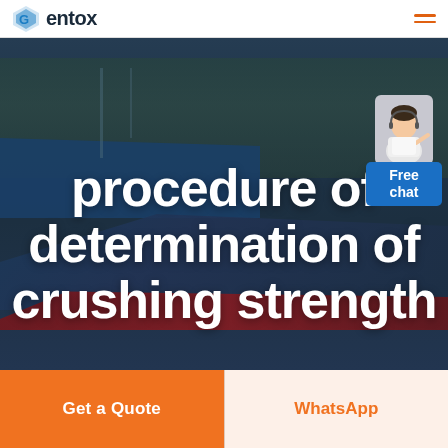Gentox
[Figure (photo): Aerial view of an industrial factory/plant facility with blue rooftops, access roads, and surrounding landscape. Dark overlay applied.]
procedure of determination of crushing strength
[Figure (illustration): Customer service representative avatar with headset, pointing gesture, above a blue 'Free chat' button widget in the bottom-right corner of the hero image.]
Get a Quote
WhatsApp